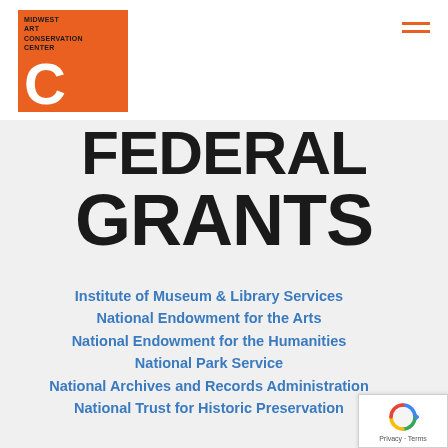[Figure (logo): Midwest Art Conservation Center logo: orange square with white text 'MIDWEST ART CONSERVATION CENTER' and large white letter C]
FEDERAL GRANTS
Institute of Museum & Library Services
National Endowment for the Arts
National Endowment for the Humanities
National Park Service
National Archives and Records Administration
National Trust for Historic Preservation